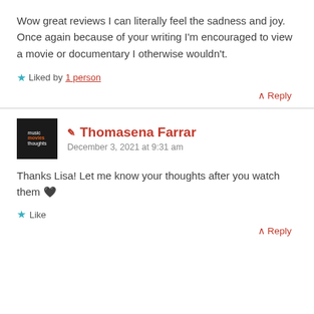Wow great reviews I can literally feel the sadness and joy. Once again because of your writing I'm encouraged to view a movie or documentary I otherwise wouldn't.
★ Liked by 1 person
↑ Reply
✏ Thomasena Farrar
December 3, 2021 at 9:31 am
Thanks Lisa! Let me know your thoughts after you watch them 🖤
★ Like
↑ Reply